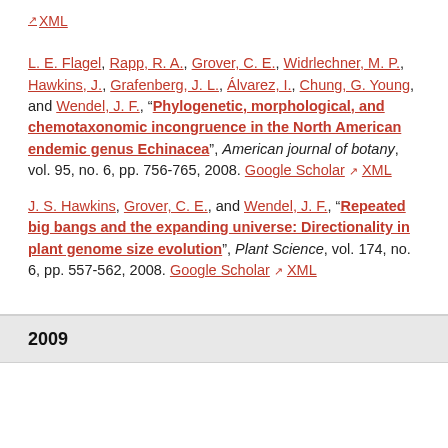XML
L. E. Flagel, Rapp, R. A., Grover, C. E., Widrlechner, M. P., Hawkins, J., Grafenberg, J. L., Álvarez, I., Chung, G. Young, and Wendel, J. F., "Phylogenetic, morphological, and chemotaxonomic incongruence in the North American endemic genus Echinacea", American journal of botany, vol. 95, no. 6, pp. 756-765, 2008. Google Scholar XML
J. S. Hawkins, Grover, C. E., and Wendel, J. F., "Repeated big bangs and the expanding universe: Directionality in plant genome size evolution", Plant Science, vol. 174, no. 6, pp. 557-562, 2008. Google Scholar XML
2009